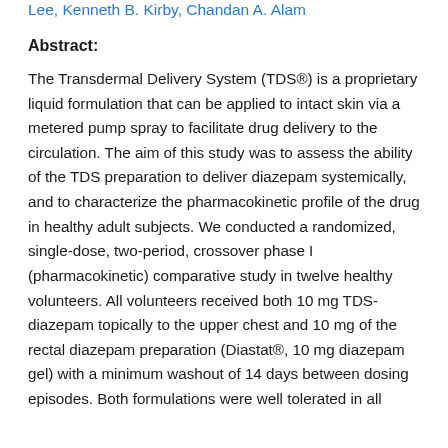Lee, Kenneth B. Kirby, Chandan A. Alam
Abstract:
The Transdermal Delivery System (TDS®) is a proprietary liquid formulation that can be applied to intact skin via a metered pump spray to facilitate drug delivery to the circulation. The aim of this study was to assess the ability of the TDS preparation to deliver diazepam systemically, and to characterize the pharmacokinetic profile of the drug in healthy adult subjects. We conducted a randomized, single-dose, two-period, crossover phase I (pharmacokinetic) comparative study in twelve healthy volunteers. All volunteers received both 10 mg TDS-diazepam topically to the upper chest and 10 mg of the rectal diazepam preparation (Diastat®, 10 mg diazepam gel) with a minimum washout of 14 days between dosing episodes. Both formulations were well tolerated in all